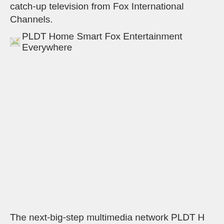catch-up television from Fox International Channels.
[Figure (other): Broken image placeholder labeled 'PLDT Home Smart Fox Entertainment Everywhere']
The next-big-step multimedia network PLDT H...